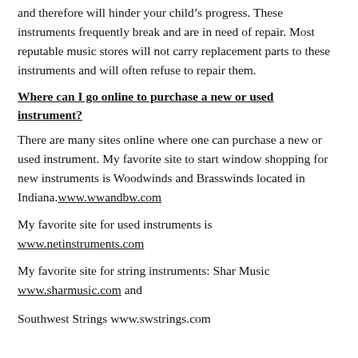and therefore will hinder your child’s progress. These instruments frequently break and are in need of repair. Most reputable music stores will not carry replacement parts to these instruments and will often refuse to repair them.
Where can I go online to purchase a new or used instrument?
There are many sites online where one can purchase a new or used instrument. My favorite site to start window shopping for new instruments is Woodwinds and Brasswinds located in Indiana. www.wwandbw.com
My favorite site for used instruments is www.netinstruments.com
My favorite site for string instruments: Shar Music www.sharmusic.com and
Southwest Strings www.swstrings.com